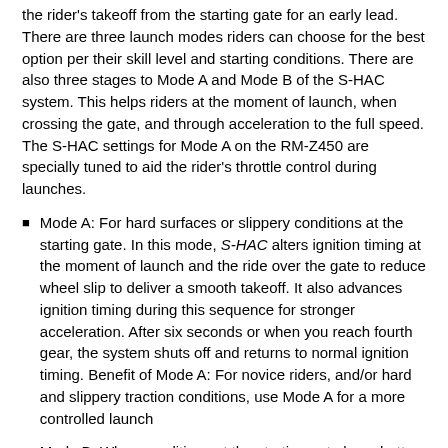the rider's takeoff from the starting gate for an early lead. There are three launch modes riders can choose for the best option per their skill level and starting conditions. There are also three stages to Mode A and Mode B of the S-HAC system. This helps riders at the moment of launch, when crossing the gate, and through acceleration to the full speed. The S-HAC settings for Mode A on the RM-Z450 are specially tuned to aid the rider's throttle control during launches.
Mode A: For hard surfaces or slippery conditions at the starting gate. In this mode, S-HAC alters ignition timing at the moment of launch and the ride over the gate to reduce wheel slip to deliver a smooth takeoff. It also advances ignition timing during this sequence for stronger acceleration. After six seconds or when you reach fourth gear, the system shuts off and returns to normal ignition timing. Benefit of Mode A: For novice riders, and/or hard and slippery traction conditions, use Mode A for a more controlled launch
Mode B: When conditions at the starting gate have better traction, and a more aggressive launch is desired. S-HAC will advance the ignition timing to allow increased throttle